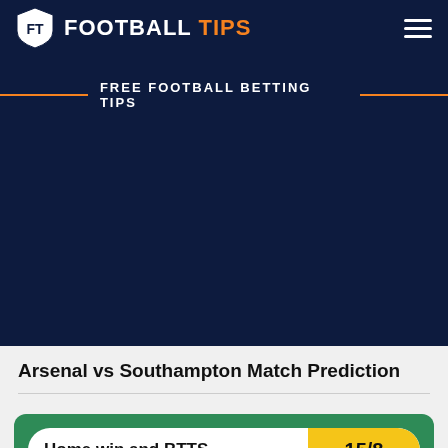FOOTBALL TIPS
FREE FOOTBALL BETTING TIPS
Arsenal vs Southampton Match Prediction
Home win and BTTS  15/8
£100 in Bet Credits Min Deposit £5
bet365
18+. T&Cs Apply. begambleaware.org